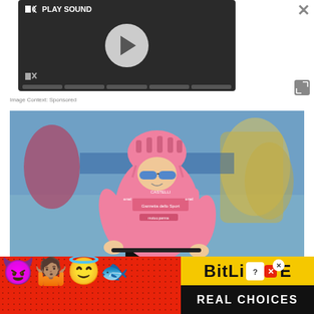[Figure (screenshot): Video player overlay with dark background, PLAY SOUND text, play button circle, mute icon, and progress bar segments]
Image Context: Sponsored
[Figure (photo): Cyclist wearing pink Giro d'Italia maglia rosa jersey with Castelli branding, blue sunglasses and pink helmet, Gazzetta dello Sport sponsor logos on jersey, racing in a crowd]
[Figure (infographic): BitLife advertisement banner with red polka-dot background, devil emoji, person shrugging emoji, angel emoji, sperm emoji, BitLife logo in yellow, and REAL CHOICES text on black background]